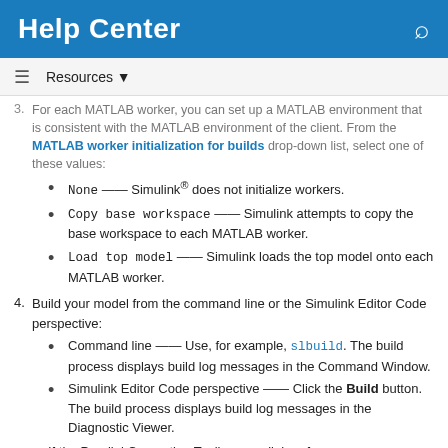Help Center
3. For each MATLAB worker, you can set up a MATLAB environment that is consistent with the MATLAB environment of the client. From the MATLAB worker initialization for builds drop-down list, select one of these values:
None -- Simulink® does not initialize workers.
Copy base workspace -- Simulink attempts to copy the base workspace to each MATLAB worker.
Load top model -- Simulink loads the top model onto each MATLAB worker.
4. Build your model from the command line or the Simulink Editor Code perspective:
Command line -- Use, for example, slbuild. The build process displays build log messages in the Command Window.
Simulink Editor Code perspective -- Click the Build button. The build process displays build log messages in the Diagnostic Viewer.
If the Parallel Computing Toolbox parallel preference